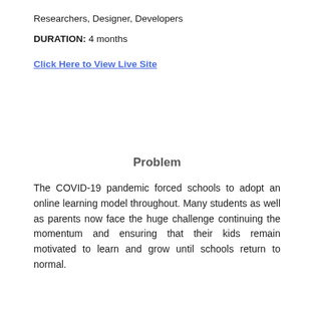Researchers, Designer, Developers
DURATION: 4 months
Click Here to View Live Site
Problem
The COVID-19 pandemic forced schools to adopt an online learning model throughout. Many students as well as parents now face the huge challenge continuing the momentum and ensuring that their kids remain motivated to learn and grow until schools return to normal.